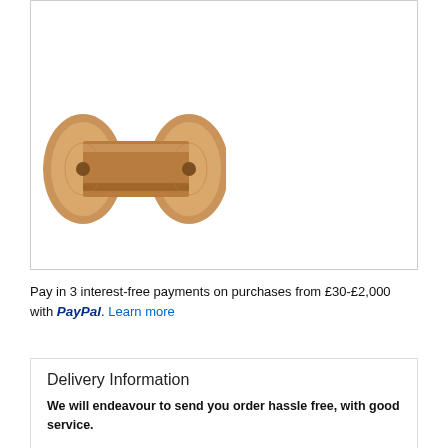[Figure (photo): A wooden thread spool/bobbin photographed on a white background]
Pay in 3 interest-free payments on purchases from £30-£2,000 with PayPal. Learn more
Delivery Information
We will endeavour to send you order hassle free, with good service.
Postage & Packing within the UK , Highlands & Islands, Channel Islands.
We have no minimum order, but orders up to £30 incur a postage cost of £3.35 or £4.45 first class mail